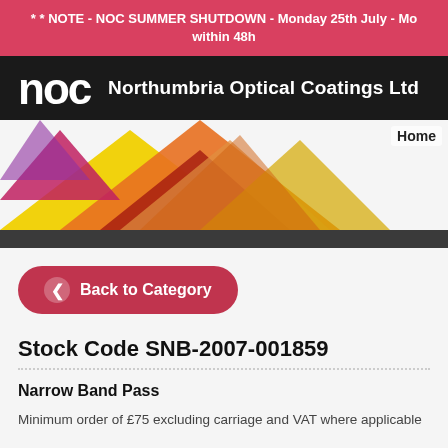* * NOTE - NOC SUMMER SHUTDOWN - Monday 25th July - Mo within 48h
[Figure (logo): NOC logo with white lettering on black background, and text 'Northumbria Optical Coatings Ltd']
[Figure (illustration): Geometric colorful triangular banner with magenta, orange, red, and yellow overlapping triangles on white/grey background]
Home
Back to Category
Stock Code SNB-2007-001859
Narrow Band Pass
Minimum order of £75 excluding carriage and VAT where applicable